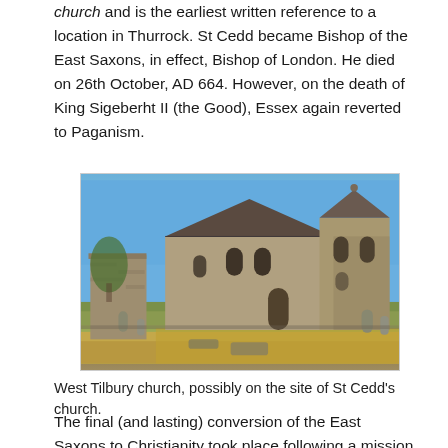church and is the earliest written reference to a location in Thurrock. St Cedd became Bishop of the East Saxons, in effect, Bishop of London. He died on 26th October, AD 664. However, on the death of King Sigeberht II (the Good), Essex again reverted to Paganism.
[Figure (photo): Photograph of West Tilbury church, a stone medieval church with arched windows, surrounded by an overgrown graveyard with headstones, under a clear blue sky.]
West Tilbury church, possibly on the site of St Cedd's church.
The final (and lasting) conversion of the East Saxons to Christianity took place following a mission by Bishop Jaruman